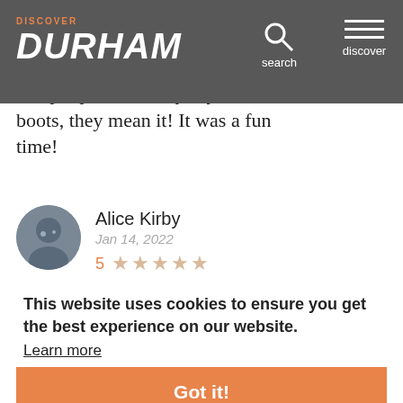Discover Durham navigation bar with search and discover menu
they really enjoy caring for the animals. There's definitely some walking involved and lots of mud and poop. When they say wear boots, they mean it! It was a fun time!
Alice Kirby
Jan 14, 2022
5 ★★★★★
My husband and I have a small dairy in North Georgia. We found Prodigal Farm when looking to expand our herd. Kathryn is so knowledgeable and has excellent animals. We were very pleased with the 6 does that we
This website uses cookies to ensure you get the best experience on our website.
Learn more
Got it!